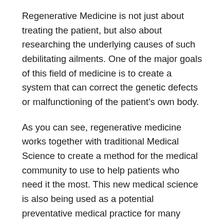Regenerative Medicine is not just about treating the patient, but also about researching the underlying causes of such debilitating ailments. One of the major goals of this field of medicine is to create a system that can correct the genetic defects or malfunctioning of the patient's own body.
As you can see, regenerative medicine works together with traditional Medical Science to create a method for the medical community to use to help patients who need it the most. This new medical science is also being used as a potential preventative medical practice for many people who might otherwise become paralyzed or even die due to debilitating conditions that stem from their own genetic flaws.
As you can see, regenerative medicine and medical science have combined in a very unique way to create a new method of treatment that has the ability to completely reverse or even cure many of the ailments that many people are suffering from on a